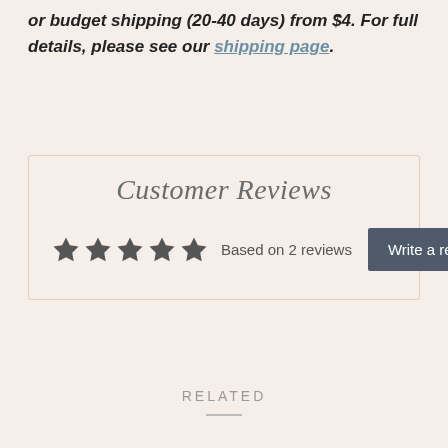or budget shipping (20-40 days) from $4. For full details, please see our shipping page.
Customer Reviews
★★★★★ Based on 2 reviews  Write a review
RELATED